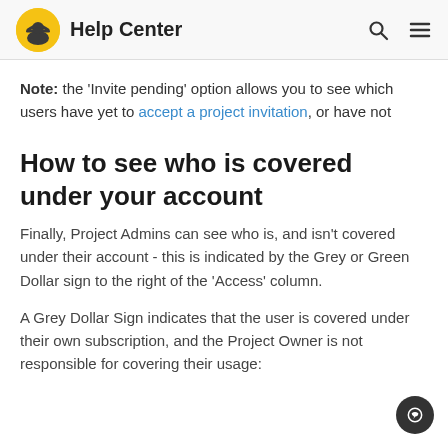Help Center
Note: the 'Invite pending' option allows you to see which users have yet to accept a project invitation, or have not
How to see who is covered under your account
Finally, Project Admins can see who is, and isn't covered under their account - this is indicated by the Grey or Green Dollar sign to the right of the 'Access' column.
A Grey Dollar Sign indicates that the user is covered under their own subscription, and the Project Owner is not responsible for covering their usage: